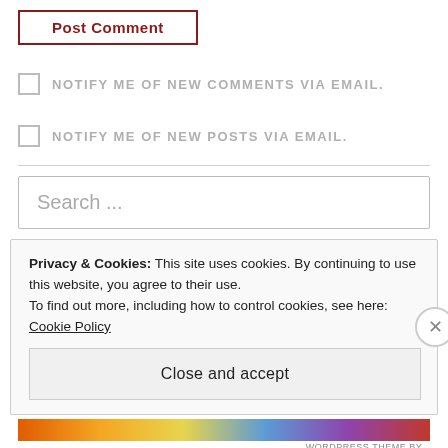Post Comment
NOTIFY ME OF NEW COMMENTS VIA EMAIL.
NOTIFY ME OF NEW POSTS VIA EMAIL.
Search ...
Privacy & Cookies: This site uses cookies. By continuing to use this website, you agree to their use. To find out more, including how to control cookies, see here: Cookie Policy
Close and accept